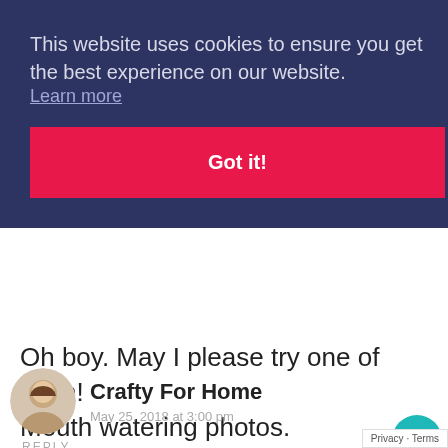This website uses cookies to ensure you get the best experience on our website.
Learn more
Got it!
Oh boy. May I please try one of each! Mouth watering photos.
REPLY
1.1K
[Figure (infographic): WHAT'S NEXT arrow with cupcake thumbnail and title Wacky Cupcake Wit...]
Privacy · Terms
[Figure (photo): Circular avatar photo of a young girl with light brown hair]
Crafty For Home
May 25, 2018 at 3:00 pm